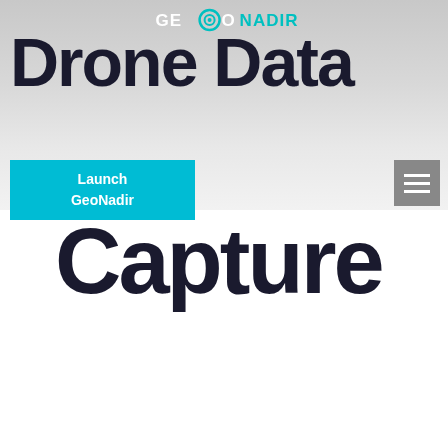[Figure (logo): GeoNadir logo with circular camera icon, white GEO text and teal NADIR text]
Drone Data
Launch GeoNadir
[Figure (other): Hamburger menu button, grey square with three white horizontal lines]
Capture